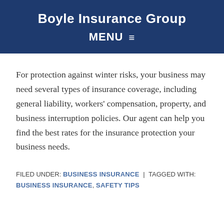Boyle Insurance Group
MENU
For protection against winter risks, your business may need several types of insurance coverage, including general liability, workers' compensation, property, and business interruption policies. Our agent can help you find the best rates for the insurance protection your business needs.
FILED UNDER: BUSINESS INSURANCE | TAGGED WITH: BUSINESS INSURANCE, SAFETY TIPS